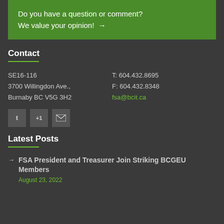Do you have a question or comment?
We value your opinion! →
Contact
SE16-116
3700 Willingdon Ave.,
Burnaby BC V5G 3H2
T: 604.432.8695
F: 604.432.8348
fsa@bcit.ca
[Figure (other): Social media icons: Twitter (t), Google+1 (+1), Email (envelope)]
Latest Posts
FSA President and Treasurer Join Striking BCGEU Members — August 23, 2022